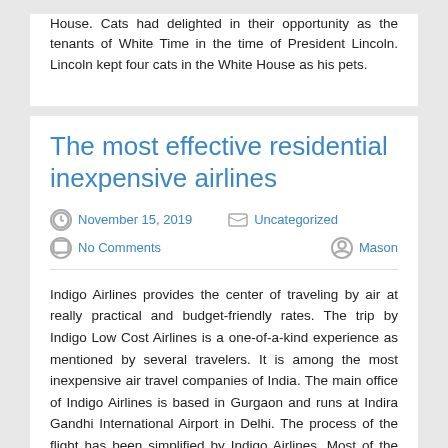House. Cats had delighted in their opportunity as the tenants of White Time in the time of President Lincoln. Lincoln kept four cats in the White House as his pets.
The most effective residential inexpensive airlines
November 15, 2019   Uncategorized   No Comments   Mason
Indigo Airlines provides the center of traveling by air at really practical and budget-friendly rates. The trip by Indigo Low Cost Airlines is a one-of-a-kind experience as mentioned by several travelers. It is among the most inexpensive air travel companies of India. The main office of Indigo Airlines is based in Gurgaon and runs at Indira Gandhi International Airport in Delhi. The process of the flight has been simplified by Indigo Airlines. Most of the guests have specified that the experience has been pleasurable. This airline was mainly introduced with the objective of offering people with all the